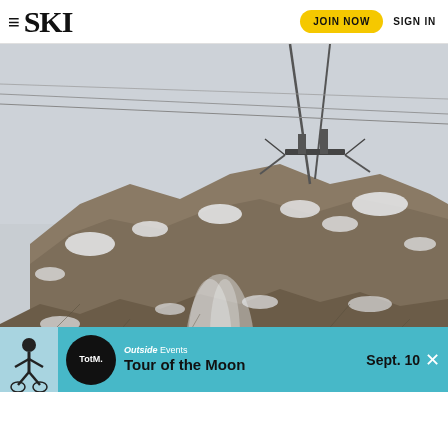SKI | JOIN NOW | SIGN IN
[Figure (photo): Rocky snow-dusted mountain peak with ski lift infrastructure (tower and cables) visible at top against overcast sky. Snow is blowing off the rocky terrain below in a misty cascade.]
Outside Events Sept. 10 TotM. Tour of the Moon